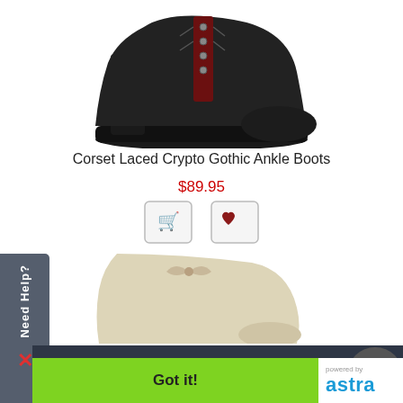[Figure (photo): Black platform ankle boot with corset lacing detail, shown from side angle on white background]
Corset Laced Crypto Gothic Ankle Boots
$89.95
[Figure (photo): Cream/beige ankle boot partially visible, cropped view]
We use cookies to provide the best possible shopping experience. Don't want them? Call in your order US Toll Free 877-822-3318.
Learn more
Got it!
[Figure (logo): Powered by astra logo in blue text]